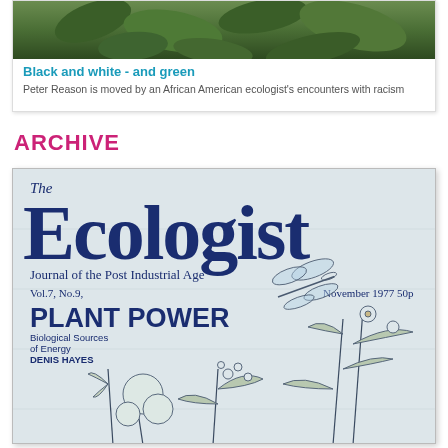[Figure (photo): Top card with green foliage/nature photo thumbnail]
Black and white - and green
Peter Reason is moved by an African American ecologist's encounters with racism
ARCHIVE
[Figure (photo): Cover of The Ecologist magazine, Vol.7 No.9, November 1977, 50p. Title reads 'The Ecologist - Journal of the Post Industrial Age'. Feature: PLANT POWER - Biological Sources of Energy - Denis Hayes. Cover illustration shows botanical line drawings of plants, flowers and a dragonfly.]